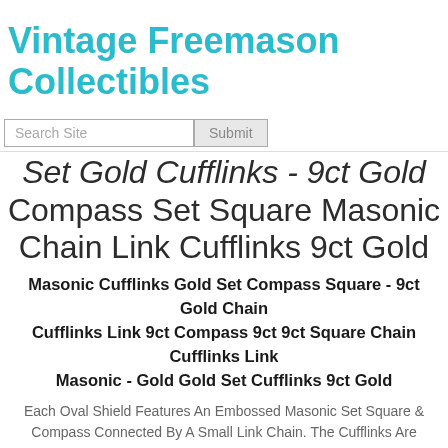Vintage Freemason Collectibles
Search Site Submit
Set Gold Cufflinks - 9ct Gold Compass Set Square Masonic Chain Link Cufflinks 9ct Gold
Masonic Cufflinks Gold Set Compass Square - 9ct Gold Chain Cufflinks Link 9ct Compass 9ct 9ct Square Chain Cufflinks Link Masonic - Gold Gold Set Cufflinks 9ct Gold
Each Oval Shield Features An Embossed Masonic Set Square & Compass Connected By A Small Link Chain. The Cufflinks Are Fully Hallmarked 375, Made In London By The Makers T&c In The Year 1961. The Cufflinks Combined Weigh 12.0g And Both Have Been Professionally Cleaned And Polished.